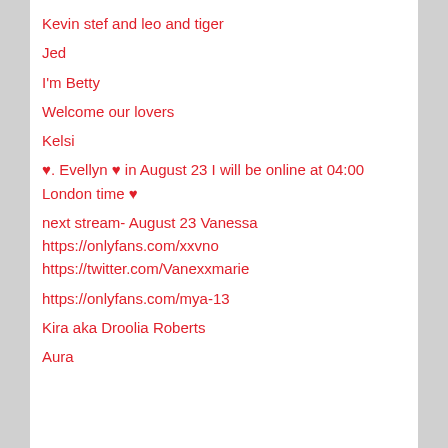Kevin stef and leo and tiger
Jed
I'm Betty
Welcome our lovers
Kelsi
♥. Evellyn ♥ in August 23 I will be online at 04:00 London time ♥
next stream- August 23 Vanessa
https://onlyfans.com/xxvno
https://twitter.com/Vanexxmarie
https://onlyfans.com/mya-13
Kira aka Droolia Roberts
Aura